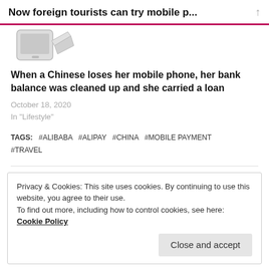Now foreign tourists can try mobile p...
[Figure (photo): Partial image of a mobile phone or device, cropped at top of page]
When a Chinese loses her mobile phone, her bank balance was cleaned up and she carried a loan
October 18, 2020
In "Lifestyle"
TAGS:   #ALIBABA   #ALIPAY   #CHINA   #MOBILE PAYMENT   #TRAVEL
Privacy & Cookies: This site uses cookies. By continuing to use this website, you agree to their use.
To find out more, including how to control cookies, see here: Cookie Policy
Close and accept